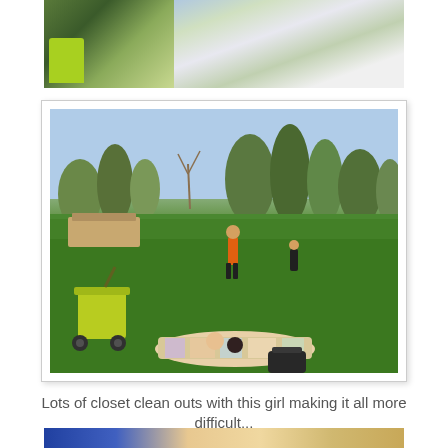[Figure (photo): Top photo collage: two images side by side showing a child in a green stroller with plants/flowers and a garden scene with blooming white flowers]
[Figure (photo): A park scene with a green lawn, trees in the background, a person in an orange shirt standing, children playing, a green stroller, babies on a colorful blanket, and a black bag on the grass]
Lots of closet clean outs with this girl making it all more difficult...
[Figure (photo): Partial bottom photo showing blue and tan/gold tones, partially cropped]